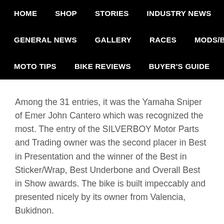HOME  SHOP  STORIES  INDUSTRY NEWS  GENERAL NEWS  GALLERY  RACES  MODS/BUILDS  MOTO TIPS  BIKE REVIEWS  BUYER'S GUIDE  GROUPS
Among the 31 entries, it was the Yamaha Sniper of Emer John Cantero which was recognized the most. The entry of the SILVERBOY Motor Parts and Trading owner was the second placer in Best in Presentation and the winner of the Best in Sticker/Wrap, Best Underbone and Overall Best in Show awards. The bike is built impeccably and presented nicely by its owner from Valencia, Bukidnon.